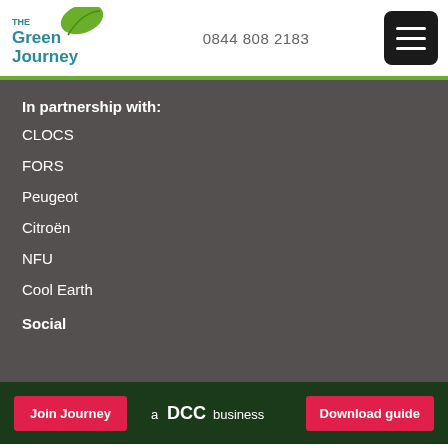[Figure (logo): The Green Journey logo with green leaf and teal/blue text]
0844 808 2183
In partnership with:
CLOCS
FORS
Peugeot
Citroën
NFU
Cool Earth
Social
Join Journey
[Figure (logo): a DCC business logo in white text]
Download guide